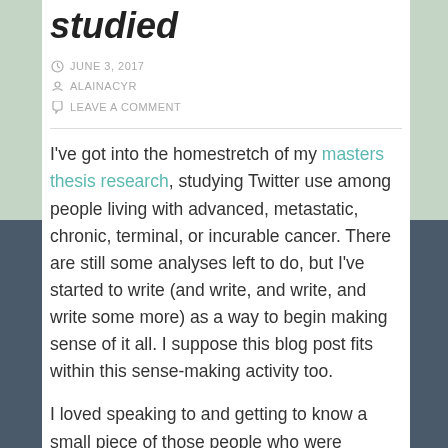studied
JUNE 3, 2017
ALAINACYR
LEAVE A COMMENT
I've got into the homestretch of my masters thesis research, studying Twitter use among people living with advanced, metastatic, chronic, terminal, or incurable cancer. There are still some analyses left to do, but I've started to write (and write, and write, and write some more) as a way to begin making sense of it all. I suppose this blog post fits within this sense-making activity too.
I loved speaking to and getting to know a small piece of those people who were gracious enough to let me interview them for this study. As the drudgery